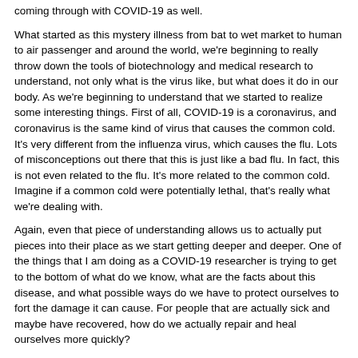coming through with COVID-19 as well.
What started as this mystery illness from bat to wet market to human to air passenger and around the world, we're beginning to really throw down the tools of biotechnology and medical research to understand, not only what is the virus like, but what does it do in our body. As we're beginning to understand that we started to realize some interesting things. First of all, COVID-19 is a coronavirus, and coronavirus is the same kind of virus that causes the common cold. It's very different from the influenza virus, which causes the flu. Lots of misconceptions out there that this is just like a bad flu. In fact, this is not even related to the flu. It's more related to the common cold. Imagine if a common cold were potentially lethal, that's really what we're dealing with.
Again, even that piece of understanding allows us to actually put pieces into their place as we start getting deeper and deeper. One of the things that I am doing as a COVID-19 researcher is trying to get to the bottom of what do we know, what are the facts about this disease, and what possible ways do we have to protect ourselves to fort the damage it can cause. For people that are actually sick and maybe have recovered, how do we actually repair and heal ourselves more quickly?
[00:07:35] Ashley James: I'm really looking forward to you diving into that and sharing with us how we can prevent it, what we can do to support the body in mounting a healthy response, if we do come in contact with it, and how